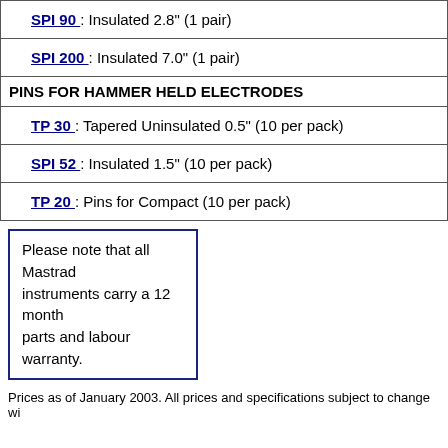| SPI 90 : Insulated 2.8" (1 pair) |
| SPI 200 : Insulated 7.0" (1 pair) |
| PINS FOR HAMMER HELD ELECTRODES |
| TP 30 : Tapered Uninsulated 0.5" (10 per pack) |
| SPI 52 : Insulated 1.5" (10 per pack) |
| TP 20 : Pins for Compact (10 per pack) |
Please note that all Mastrad instruments carry a 12 month parts and labour warranty.
Prices as of January 2003. All prices and specifications subject to change wi...